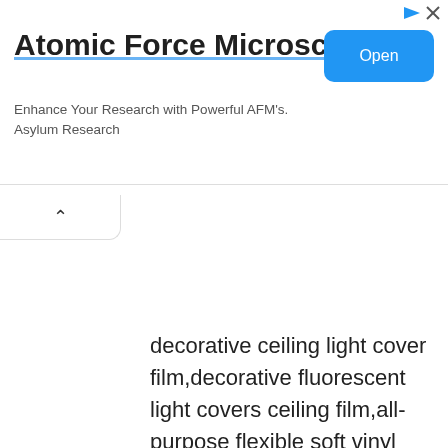[Figure (other): Advertisement banner for Atomic Force Microscopes by Asylum Research with an Open button]
decorative ceiling light cover film,decorative fluorescent light covers ceiling film,all-purpose flexible soft vinyl film